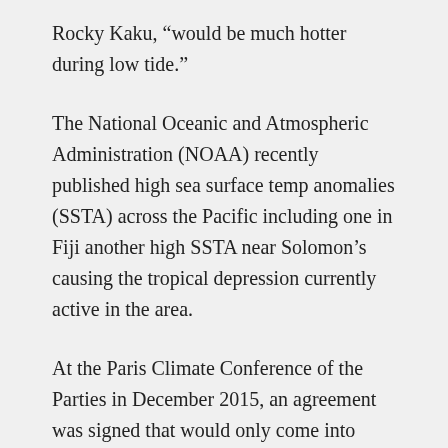Rocky Kaku, “would be much hotter during low tide.”
The National Oceanic and Atmospheric Administration (NOAA) recently published high sea surface temp anomalies (SSTA) across the Pacific including one in Fiji another high SSTA near Solomon’s causing the tropical depression currently active in the area.
At the Paris Climate Conference of the Parties in December 2015, an agreement was signed that would only come into effect in 2020, this simply is not good enough for islands who are already